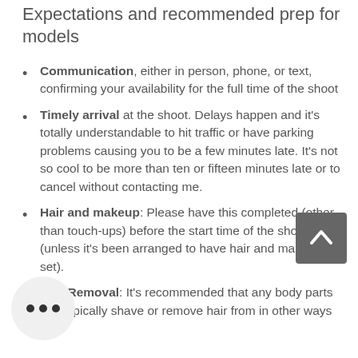Expectations and recommended prep for models
Communication, either in person, phone, or text, confirming your availability for the full time of the shoot
Timely arrival at the shoot. Delays happen and it's totally understandable to hit traffic or have parking problems causing you to be a few minutes late. It's not so cool to be more than ten or fifteen minutes late or to cancel without contacting me.
Hair and makeup: Please have this completed (other than touch-ups) before the start time of the shoot (unless it's been arranged to have hair and makeup on set).
Hair Removal: It's recommended that any body parts you typically shave or remove hair from in other ways are